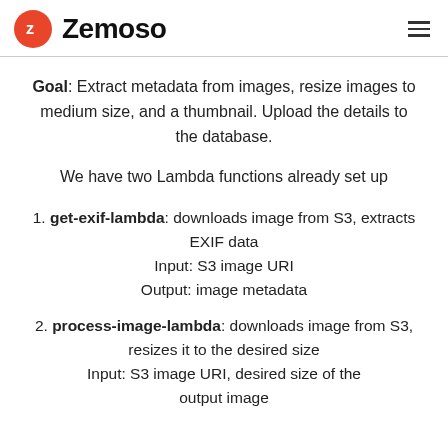Zemoso
Goal: Extract metadata from images, resize images to medium size, and a thumbnail. Upload the details to the database.
We have two Lambda functions already set up
1. get-exif-lambda: downloads image from S3, extracts EXIF data Input: S3 image URI Output: image metadata
2. process-image-lambda: downloads image from S3, resizes it to the desired size Input: S3 image URI, desired size of the output image